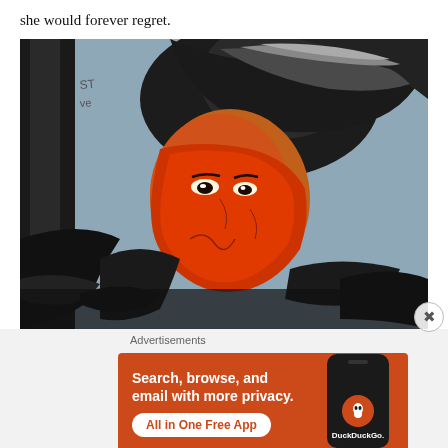she would forever regret.
[Figure (illustration): Digital artwork showing a double-exposure style portrait: a figure with dark hair (windswept) and a painted red/orange face mask over a woman's face, wearing dark feathery garments, against a grey-blue background.]
Advertisements
[Figure (other): DuckDuckGo advertisement banner with orange background. Text: 'Search, browse, and email with more privacy. All in One Free App.' Shows a smartphone with DuckDuckGo logo and name.]